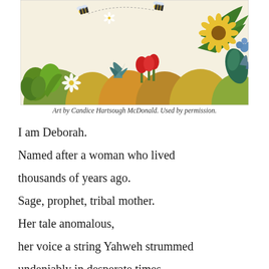[Figure (illustration): Colorful children's book illustration showing a lush garden scene with flowers, fruits, vegetables, ferns, and bees flying above against a light sky background.]
Art by Candice Hartsough McDonald. Used by permission.
I am Deborah.

Named after a woman who lived

thousands of years ago.

Sage, prophet, tribal mother.

Her tale anomalous,

her voice a string Yahweh strummed

undeniably in desperate times.